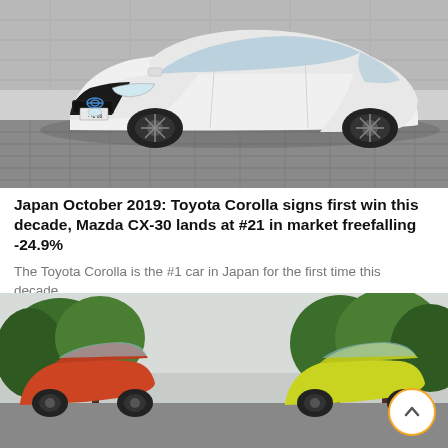[Figure (photo): White Toyota Corolla sedan photographed from a front-three-quarter angle on a cobblestone surface. The car has a sporty body kit, dark alloy wheels, and a blue Toyota emblem. Japanese license plate reads ・-2 86.]
Japan October 2019: Toyota Corolla signs first win this decade, Mazda CX-30 lands at #21 in market freefalling -24.9%
The Toyota Corolla is the #1 car in Japan for the first time this decade....
[Figure (photo): Two compact SUVs/kei cars photographed outdoors with green trees in background under an overcast sky. One car is orange/red on the left, one is yellow-green on the right.]